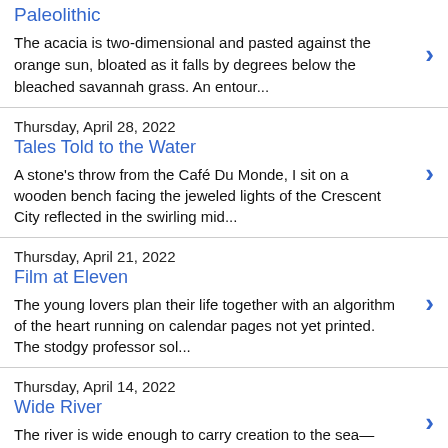Paleolithic
The acacia is two-dimensional and pasted against the orange sun, bloated as it falls by degrees below the bleached savannah grass. An entour...
Thursday, April 28, 2022
Tales Told to the Water
A stone's throw from the Café Du Monde, I sit on a wooden bench facing the jeweled lights of the Crescent City reflected in the swirling mid...
Thursday, April 21, 2022
Film at Eleven
The young lovers plan their life together with an algorithm of the heart running on calendar pages not yet printed. The stodgy professor sol...
Thursday, April 14, 2022
Wide River
The river is wide enough to carry creation to the sea— forest,